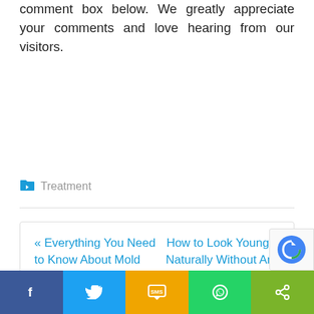share your valuable feedback with us, in the comment box below. We greatly appreciate your comments and love hearing from our visitors.
Treatment
« Everything You Need to Know About Mold
How to Look Younger Naturally Without Any Surgery »
[Figure (other): Social sharing bar with Facebook, Twitter, SMS, WhatsApp, and Share buttons]